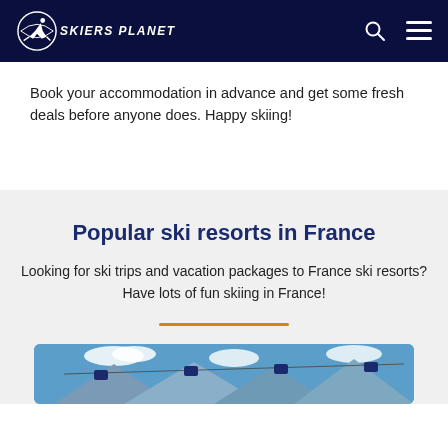SKIERS PLANET
Book your accommodation in advance and get some fresh deals before anyone does. Happy skiing!
Popular ski resorts in France
Looking for ski trips and vacation packages to France ski resorts?
Have lots of fun skiing in France!
[Figure (photo): Mountain ski resort photo showing cable car gondolas and snowy peaks under blue sky]